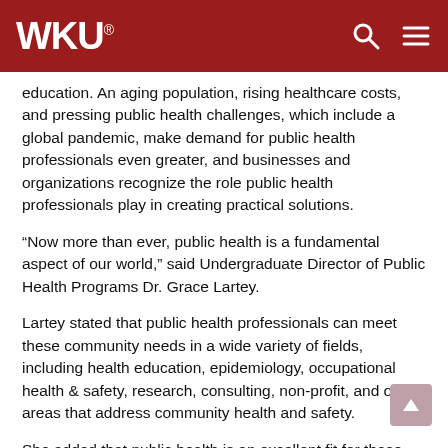WKU
education. An aging population, rising healthcare costs, and pressing public health challenges, which include a global pandemic, make demand for public health professionals even greater, and businesses and organizations recognize the role public health professionals play in creating practical solutions.
“Now more than ever, public health is a fundamental aspect of our world,” said Undergraduate Director of Public Health Programs Dr. Grace Lartey.
Lartey stated that public health professionals can meet these community needs in a wide variety of fields, including health education, epidemiology, occupational health & safety, research, consulting, non-profit, and other areas that address community health and safety.
She added that public health is an excellent fit for those with a desire to make a significant impact on their community.
“We are a community of people with a passion for impacting